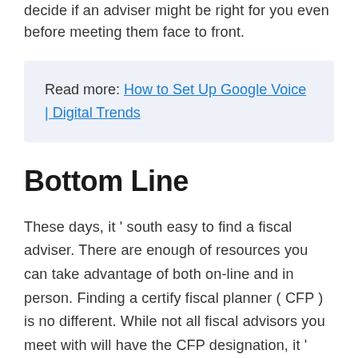decide if an adviser might be right for you even before meeting them face to front.
Read more: How to Set Up Google Voice | Digital Trends
Bottom Line
These days, it ’ south easy to find a fiscal adviser. There are enough of resources you can take advantage of both on-line and in person. Finding a certify fiscal planner ( CFP ) is no different. While not all fiscal advisors you meet with will have the CFP designation, it ’ randomness easy to find out merely by asking. CFPs must pass a set of exams to